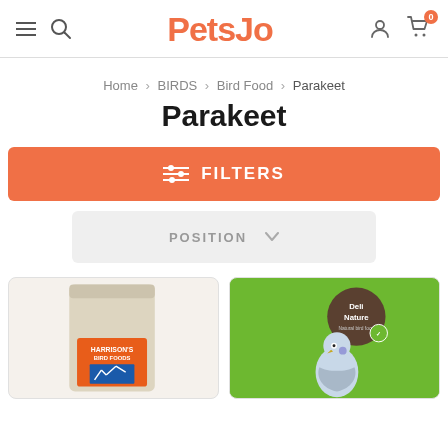PetsJo - navigation header with hamburger menu, search, logo, user icon, and cart
Home > BIRDS > Bird Food > Parakeet
Parakeet
FILTERS
POSITION
[Figure (photo): Harrison's Bird Foods product bag - kraft/beige colored resealable bag with orange label showing 'HARRISON'S BIRD FOODS' text and blue graphic]
[Figure (photo): Deli Nature bird food product - green packaging with circular brown logo reading 'Deli Nature' and a parakeet/budgie illustration]